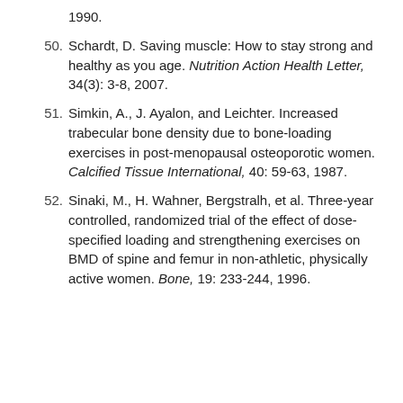1990.
50. Schardt, D. Saving muscle: How to stay strong and healthy as you age. Nutrition Action Health Letter, 34(3): 3-8, 2007.
51. Simkin, A., J. Ayalon, and Leichter. Increased trabecular bone density due to bone-loading exercises in post-menopausal osteoporotic women. Calcified Tissue International, 40: 59-63, 1987.
52. Sinaki, M., H. Wahner, Bergstralh, et al. Three-year controlled, randomized trial of the effect of dose-specified loading and strengthening exercises on BMD of spine and femur in non-athletic, physically active women. Bone, 19: 233-244, 1996.